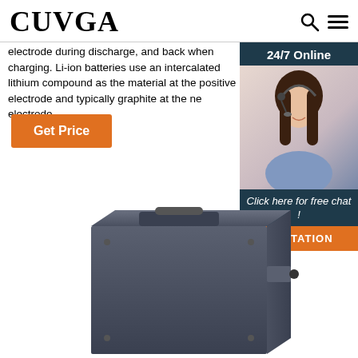CUVGA
electrode during discharge, and back when charging. Li-ion batteries use an intercalated lithium compound as the material at the positive electrode and typically graphite at the negative electrode.
Get Price
[Figure (photo): Customer service agent with headset, 24/7 Online chat widget with QUOTATION button]
[Figure (photo): Dark gray lithium-ion battery pack with carrying handle on top]